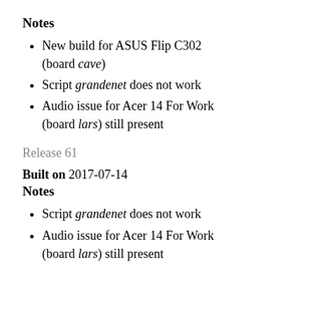Notes
New build for ASUS Flip C302 (board cave)
Script grandenet does not work
Audio issue for Acer 14 For Work (board lars) still present
Release 61
Built on 2017-07-14
Notes
Script grandenet does not work
Audio issue for Acer 14 For Work (board lars) still present